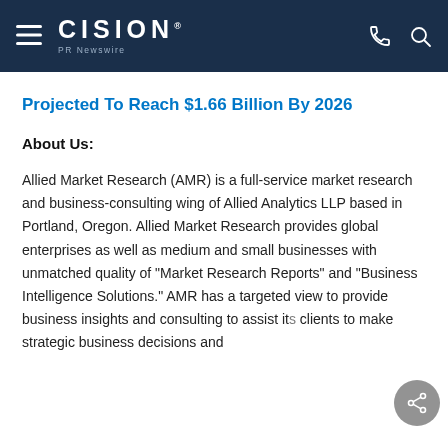CISION PR Newswire
Projected To Reach $1.66 Billion By 2026
About Us:
Allied Market Research (AMR) is a full-service market research and business-consulting wing of Allied Analytics LLP based in Portland, Oregon. Allied Market Research provides global enterprises as well as medium and small businesses with unmatched quality of "Market Research Reports" and "Business Intelligence Solutions." AMR has a targeted view to provide business insights and consulting to assist its clients to make strategic business decisions and